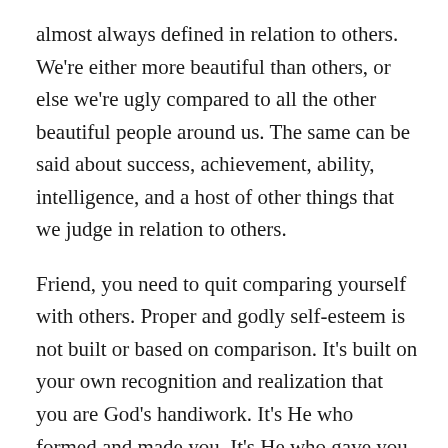almost always defined in relation to others. We're either more beautiful than others, or else we're ugly compared to all the other beautiful people around us. The same can be said about success, achievement, ability, intelligence, and a host of other things that we judge in relation to others.
Friend, you need to quit comparing yourself with others. Proper and godly self-esteem is not built or based on comparison. It's built on your own recognition and realization that you are God's handiwork. It's He who formed and made you. It's He who gave you your personality, talents and abilities.  It's  He  who  endowed you with the intelligence that you've got. Of course, you've had a hand in everything about yourself: you've either improved God's handiwork for the better, or else you've made a mess of yourself by living a carnal, self-centered,